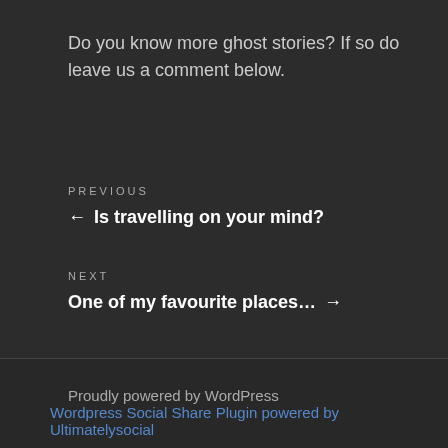Do you know more ghost stories? If so do leave us a comment below.
PREVIOUS
← Is travelling on your mind?
NEXT
One of my favourite places… →
Proudly powered by WordPress
Wordpress Social Share Plugin powered by Ultimatelysocial